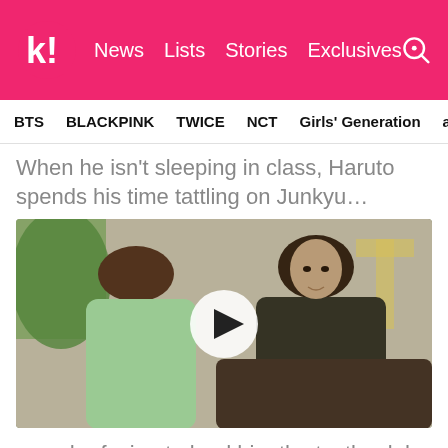k! News  Lists  Stories  Exclusives
BTS  BLACKPINK  TWICE  NCT  Girls' Generation  aespa
When he isn't sleeping in class, Haruto spends his time tattling on Junkyu…
[Figure (screenshot): Video thumbnail showing two young men in conversation — one in a light green top with brown hair viewed from behind, the other in a dark leather jacket facing the camera — with a circular play button overlay in the center.]
…and refusing to lend him the textbook he isn't